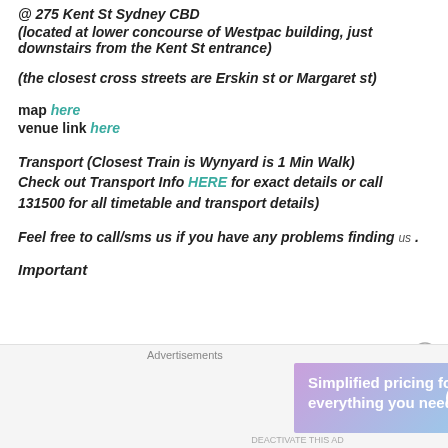@ 275 Kent St Sydney CBD
(located at lower concourse of Westpac building, just downstairs from the Kent St entrance)
(the closest cross streets are Erskin st or Margaret st)
map here
venue link here
Transport (Closest Train is Wynyard is 1 Min Walk) Check out Transport Info HERE for exact details or call 131500 for all timetable and transport details)
Feel free to call/sms us if you have any problems finding us .
Important
[Figure (screenshot): WordPress.com advertisement banner: 'Simplified pricing for everything you need.' with WordPress.com logo]